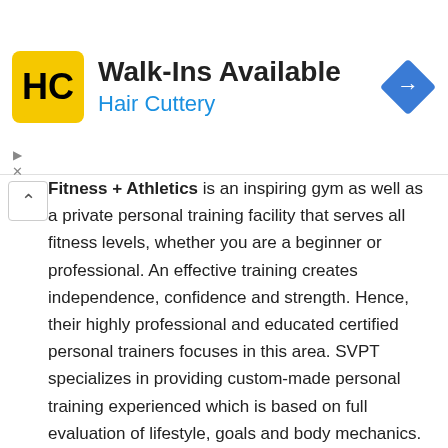[Figure (other): Hair Cuttery advertisement banner with logo, 'Walk-Ins Available' heading, brand name, and navigation arrow icon]
Fitness + Athletics is an inspiring gym as well as a private personal training facility that serves all fitness levels, whether you are a beginner or professional. An effective training creates independence, confidence and strength. Hence, their highly professional and educated certified personal trainers focuses in this area. SVPT specializes in providing custom-made personal training experienced which is based on full evaluation of lifestyle, goals and body mechanics.
SVPT is an award-winner as it was voted #1 private gym in 2015, 2016 and 2017, and Top 5 private gym in 2018. Among the programs they offer include Partner Personal Training. In here, a friend or family member or even your spouse can join